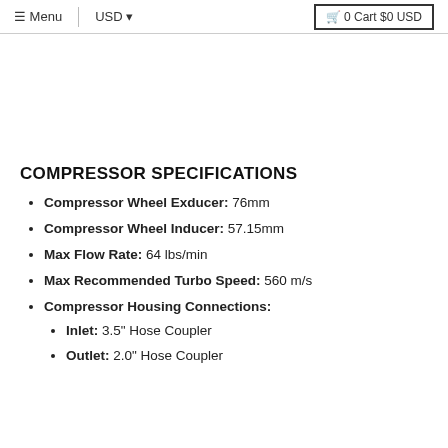Menu  USD  0 Cart $0 USD
COMPRESSOR SPECIFICATIONS
Compressor Wheel Exducer: 76mm
Compressor Wheel Inducer: 57.15mm
Max Flow Rate: 64 lbs/min
Max Recommended Turbo Speed: 560 m/s
Compressor Housing Connections:
Inlet: 3.5" Hose Coupler
Outlet: 2.0" Hose Coupler